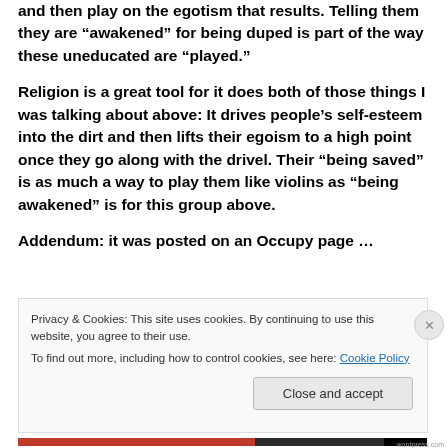and then play on the egotism that results. Telling them they are “awakened” for being duped is part of the way these uneducated are “played.”
Religion is a great tool for it does both of those things I was talking about above: It drives people’s self-esteem into the dirt and then lifts their egoism to a high point once they go along with the drivel. Their “being saved” is as much a way to play them like violins as “being awakened” is for this group above.
Addendum: it was posted on an Occupy page …
Privacy & Cookies: This site uses cookies. By continuing to use this website, you agree to their use.
To find out more, including how to control cookies, see here: Cookie Policy
Close and accept